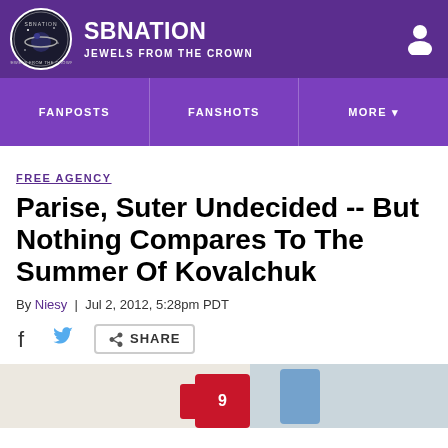SBNATION JEWELS FROM THE CROWN
FANPOSTS | FANSHOTS | MORE
FREE AGENCY
Parise, Suter Undecided -- But Nothing Compares To The Summer Of Kovalchuk
By Niesy | Jul 2, 2012, 5:28pm PDT
SHARE
[Figure (photo): Partial photo of a hockey player in a red jersey with number visible, bottom of page]